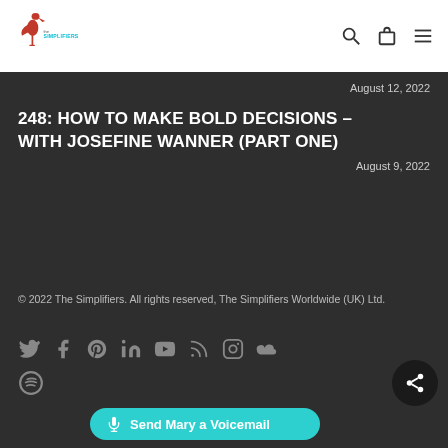The Simplifiers — logo and navigation icons
August 12, 2022
248: HOW TO MAKE BOLD DECISIONS – WITH JOSEFINE WANNER (PART ONE)
August 9, 2022
© 2022 The Simplifiers. All rights reserved, The Simplifiers Worldwide (UK) Ltd.
[Figure (other): Social media icons row: Twitter, Facebook, Pinterest, LinkedIn, YouTube, RSS, Instagram, SoundCloud]
[Figure (other): Spotify icon]
[Figure (other): Share button (circular dark button with share icon)]
Send Mary a Voicemail